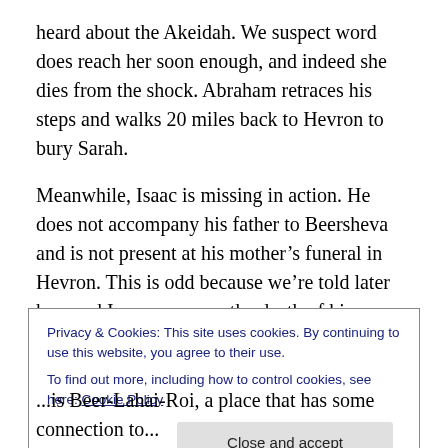heard about the Akeidah. We suspect word does reach her soon enough, and indeed she dies from the shock. Abraham retraces his steps and walks 20 miles back to Hevron to bury Sarah.
Meanwhile, Isaac is missing in action. He does not accompany his father to Beersheva and is not present at his mother's funeral in Hevron. This is odd because we're told later how sad Isaac was over the death of his mother and that he does not overcome his grief until he marries Rebecca. So where is Isaac? In the lead-up to Isaac's
Privacy & Cookies: This site uses cookies. By continuing to use this website, you agree to their use.
To find out more, including how to control cookies, see here: Cookie Policy
Close and accept
...is Beer-Lahai-Roi, a place that has some connection to...